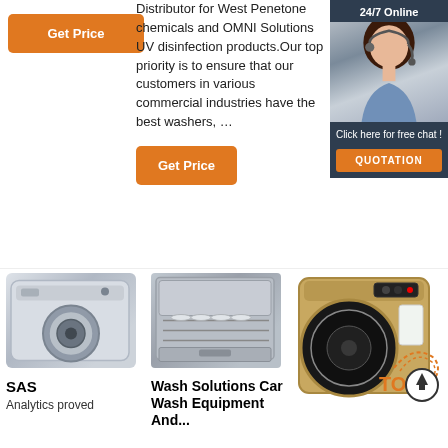[Figure (photo): Orange Get Price button on left column]
Distributor for West Penetone chemicals and OMNI Solutions UV disinfection products.Our top priority is to ensure that our customers in various commercial industries have the best washers, …
[Figure (screenshot): 24/7 Online chat widget with female customer service agent photo, 'Click here for free chat!' text and orange QUOTATION button]
[Figure (photo): Orange Get Price button in middle column]
[Figure (photo): Front-loading washing machine product image]
[Figure (photo): Open dishwasher product image]
[Figure (photo): Gold/champagne front-loading washing machine with TOP badge]
SAS
Analytics proved
Wash Solutions Car Wash Equipment And...